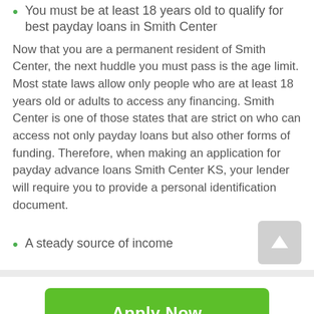You must be at least 18 years old to qualify for best payday loans in Smith Center
Now that you are a permanent resident of Smith Center, the next huddle you must pass is the age limit. Most state laws allow only people who are at least 18 years old or adults to access any financing. Smith Center is one of those states that are strict on who can access not only payday loans but also other forms of funding. Therefore, when making an application for payday advance loans Smith Center KS, your lender will require you to provide a personal identification document.
A steady source of income
[Figure (other): Gray scroll-to-top button with white upward arrow]
Apply Now
Applying does NOT affect your credit score!
No credit check to apply.